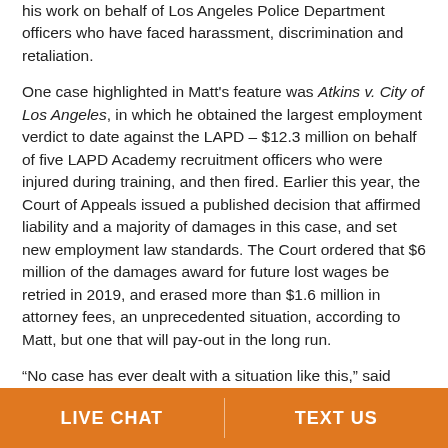his work on behalf of Los Angeles Police Department officers who have faced harassment, discrimination and retaliation.
One case highlighted in Matt's feature was Atkins v. City of Los Angeles, in which he obtained the largest employment verdict to date against the LAPD – $12.3 million on behalf of five LAPD Academy recruitment officers who were injured during training, and then fired. Earlier this year, the Court of Appeals issued a published decision that affirmed liability and a majority of damages in this case, and set new employment law standards. The Court ordered that $6 million of the damages award for future lost wages be retried in 2019, and erased more than $1.6 million in attorney fees, an unprecedented situation, according to Matt, but one that will pay-out in the long run.
“No case has ever dealt with a situation like this,” said Matt. “We’re finding that 90 percent of recruits make it through
LIVE CHAT | TEXT US